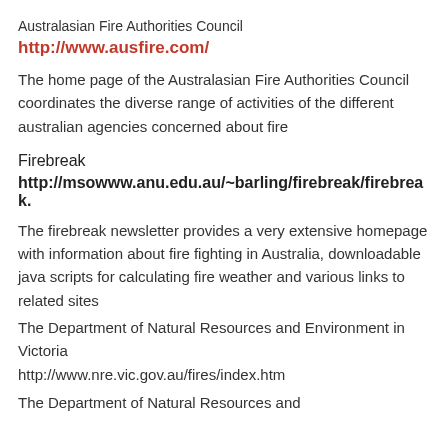Australasian Fire Authorities Council
http://www.ausfire.com/
The home page of the Australasian Fire Authorities Council coordinates the diverse range of activities of the different australian agencies concerned about fire
Firebreak
http://msowww.anu.edu.au/~barling/firebreak/firebreak.
The firebreak newsletter provides a very extensive homepage with information about fire fighting in Australia, downloadable java scripts for calculating fire weather and various links to related sites
The Department of Natural Resources and Environment in Victoria
http://www.nre.vic.gov.au/fires/index.htm
The Department of Natural Resources and